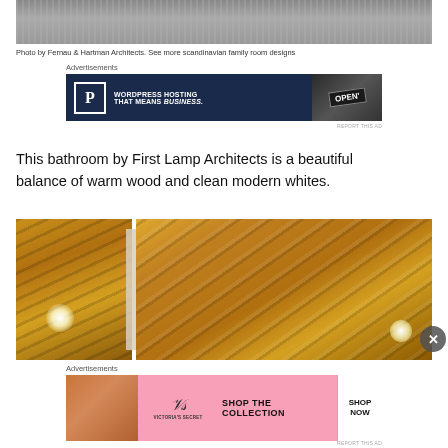[Figure (photo): Top portion of a photo showing a textured surface, appears to be fabric or mesh material in gray tones]
Photo by Fernau & Hartman Architects. See more scandinavian family room designs
Advertisements
[Figure (photo): Advertisement banner: WordPress Hosting That Means Business. Dark navy background with P logo and OPEN sign photo]
This bathroom by First Lamp Architects is a beautiful balance of warm wood and clean modern whites.
[Figure (photo): Photo collage of bathroom ceiling with warm wood slat panels and recessed lighting, showing two views side by side]
Advertisements
[Figure (photo): Victoria's Secret advertisement banner: Shop The Collection, Shop Now button, pink background with model]